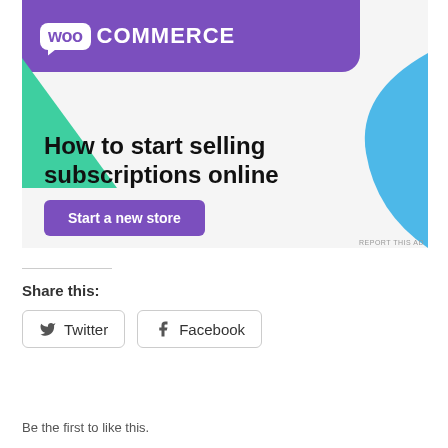[Figure (screenshot): WooCommerce advertisement banner with purple header showing WooCommerce logo, green triangle shape on left, light blue curved shape on right, headline text 'How to start selling subscriptions online', and a purple 'Start a new store' button. Small 'REPORT THIS AD' text at bottom right.]
Share this:
Twitter
Facebook
Like
Be the first to like this.